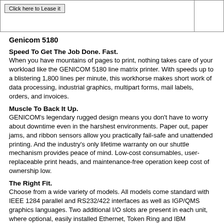| Click here to Lease it |  |
Genicom 5180
Speed To Get The Job Done. Fast.
When you have mountains of pages to print, nothing takes care of your workload like the GENICOM 5180 line matrix printer. With speeds up to a blistering 1,800 lines per minute, this workhorse makes short work of data processing, industrial graphics, multipart forms, mail labels, orders, and invoices.
Muscle To Back It Up.
GENICOM's legendary rugged design means you don't have to worry about downtime even in the harshest environments. Paper out, paper jams, and ribbon sensors allow you practically fail-safe and unattended printing. And the industry's only lifetime warranty on our shuttle mechanism provides peace of mind. Low-cost consumables, user-replaceable print heads, and maintenance-free operation keep cost of ownership low.
The Right Fit.
Choose from a wide variety of models. All models come standard with IEEE 1284 parallel and RS232/422 interfaces as well as IGP/QMS graphics languages. Two additional I/O slots are present in each unit, where optional, easily installed Ethernet, Token Ring and IBM twinax/coax connectivity solution cards may be added. These I/O slots provide for your current and future networking needs.